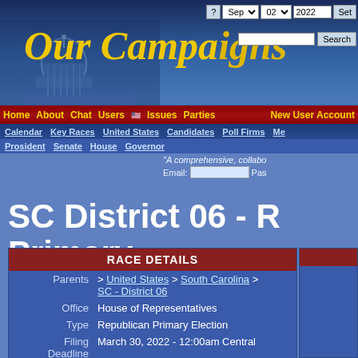Our Campaigns
Home About Chat Users Issues Parties New User Account Calendar Key Races United States Candidates Poll Firms President Senate House Governors
"A comprehensive, collabo...  Email: [input] Pas...
SC District 06 - R Primary
| Field | Value |
| --- | --- |
|  | RACE DETAILS |
| Parents | > United States > South Carolina > SC - District 06 |
| Office | House of Representatives |
| Type | Republican Primary Election |
| Filing Deadline | March 30, 2022 - 12:00am Central |
| Polls Open | June 14, 2022 - 06:00am Central |
| Polls Close | June 14, 2022 - 06:00pm Central |
| Term Start | January 03, 2023 - 12:00pm |
| Term End | January 03, 2025 - 12:00am |
| Contributor | RPI |